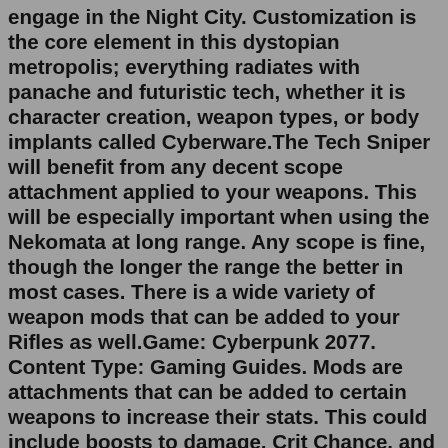engage in the Night City. Customization is the core element in this dystopian metropolis; everything radiates with panache and futuristic tech, whether it is character creation, weapon types, or body implants called Cyberware.The Tech Sniper will benefit from any decent scope attachment applied to your weapons. This will be especially important when using the Nekomata at long range. Any scope is fine, though the longer the range the better in most cases. There is a wide variety of weapon mods that can be added to your Rifles as well.Game: Cyberpunk 2077. Content Type: Gaming Guides. Mods are attachments that can be added to certain weapons to increase their stats. This could include boosts to damage, Crit Chance, and much more. Mods allow for more control over the bonuses that come with your weapons. Below we will list the different mods for both Melee and Ranged Weapons ...At long last, Cyberpunk 2077 is getting the much-needed technical touch-ups it so desperately needs. ... New type of weapon attachments - muzzle brakes: 10 new muzzle brakes; 5 for handguns (PC